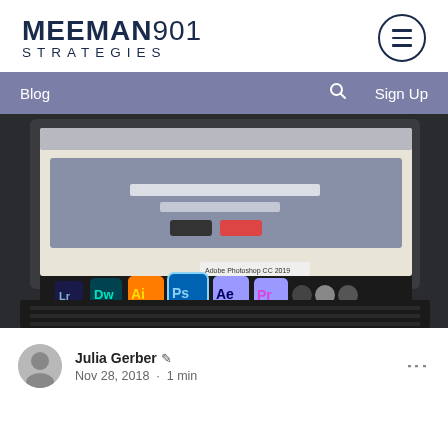[Figure (logo): Meeman901 Strategies logo with hamburger menu icon circle]
Blog   🔍   Sign Up
[Figure (photo): Photo of a laptop/tablet screen showing web design software with Adobe creative suite icons (Dreamweaver, Illustrator, Photoshop, After Effects, Premiere) in the dock]
Julia Gerber ✒
Nov 28, 2018 · 1 min